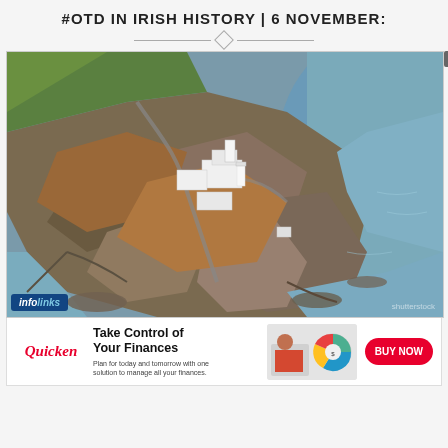#OTD IN IRISH HISTORY | 6 NOVEMBER:
[Figure (photo): Aerial drone photograph of an Irish lighthouse and keeper's house on a dramatic rocky headland/cliff, surrounded by sea. The headland features rocky cliffs, green grass, brown vegetation. A white lighthouse tower and white buildings are visible. The sea is a blue-grey colour around the rocky promontory.]
[Figure (other): Infolinks badge overlay on photo]
[Figure (other): Quicken advertisement banner: 'Take Control of Your Finances' with BUY NOW button]